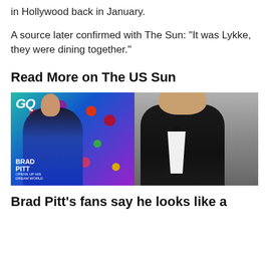in Hollywood back in January.
A source later confirmed with The Sun: "It was Lykke, they were dining together."
Read More on The US Sun
[Figure (photo): Two photos side by side: left shows Brad Pitt on a GQ magazine cover in a blue jacket with floral background, text reads BRAD PITT OPENS UP HIS DREAM WORLD; right shows Brad Pitt in a black tuxedo with bow tie against a grey curtain background.]
Brad Pitt's fans say he looks like a